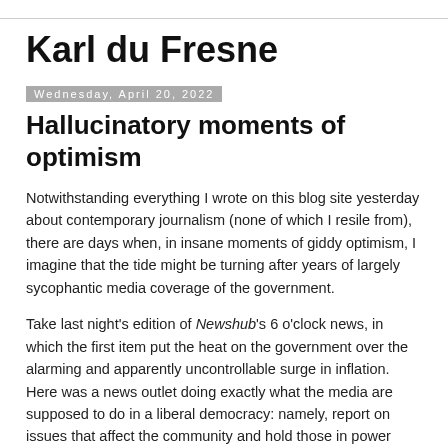Karl du Fresne
Wednesday, April 20, 2022
Hallucinatory moments of optimism
Notwithstanding everything I wrote on this blog site yesterday about contemporary journalism (none of which I resile from), there are days when, in insane moments of giddy optimism, I imagine that the tide might be turning after years of largely sycophantic media coverage of the government.
Take last night’s edition of Newshub’s 6 o’clock news, in which the first item put the heat on the government over the alarming and apparently uncontrollable surge in inflation. Here was a news outlet doing exactly what the media are supposed to do in a liberal democracy: namely, report on issues that affect the community and hold those in power accountable.